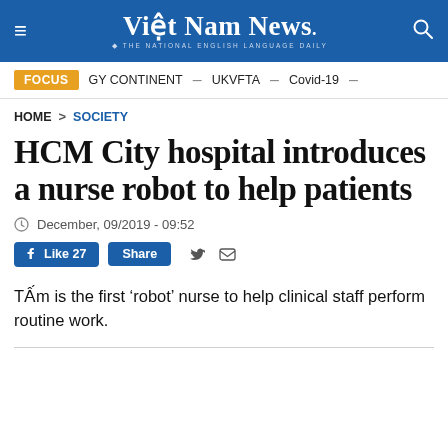Việt Nam News. THE NATIONAL ENGLISH LANGUAGE DAILY
FOCUS  GY CONTINENT – UKVFTA – Covid-19 –
HOME > SOCIETY
HCM City hospital introduces a nurse robot to help patients
December, 09/2019 - 09:52
Like 27  Share
Tấm is the first 'robot' nurse to help clinical staff perform routine work.